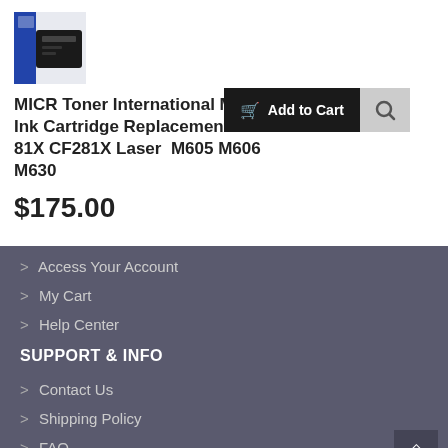[Figure (photo): Product image of MICR toner cartridge box, dark blue and black packaging]
MICR Toner International Magnetic Ink Cartridge Replacement for HP 81X CF281X LaserJet M605 M606 M630
$175.00
[Figure (screenshot): Add to Cart button (dark/black background with cart icon and text 'Add to Cart') and a search icon button to its right]
> Access Your Account
> My Cart
> Help Center
SUPPORT & INFO
> Contact Us
> Shipping Policy
> FAQ